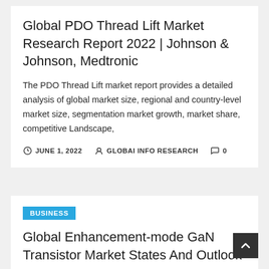Global PDO Thread Lift Market Research Report 2022 | Johnson & Johnson, Medtronic
The PDO Thread Lift market report provides a detailed analysis of global market size, regional and country-level market size, segmentation market growth, market share, competitive Landscape,
JUNE 1, 2022  GLOBAI INFO RESEARCH  0
BUSINESS
Global Enhancement-mode GaN Transistor Market States And Outlook